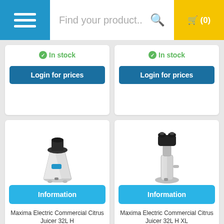Find your product..
In stock
Login for prices
In stock
Login for prices
[Figure (photo): Maxima Electric Commercial Citrus Juicer 32L H - silver/white electric citrus juicer with black funnel top]
Information
Maxima Electric Commercial Citrus Juicer 32L H
[Figure (photo): Maxima Electric Commercial Citrus Juicer 32L H XL - silver electric citrus juicer with dual black nozzle top]
Information
Maxima Electric Commercial Citrus Juicer 32L H XL